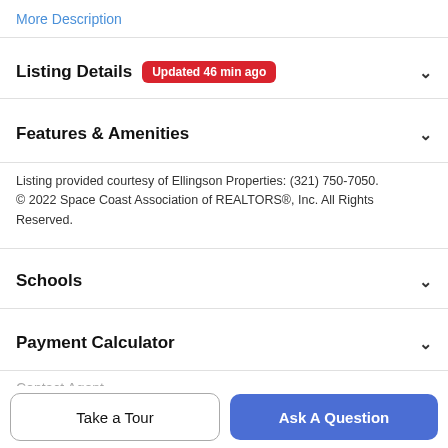More Description
Listing Details Updated 46 min ago
Features & Amenities
Listing provided courtesy of Ellingson Properties: (321) 750-7050. © 2022 Space Coast Association of REALTORS®, Inc. All Rights Reserved.
Schools
Payment Calculator
Contact Agent
Take a Tour
Ask A Question